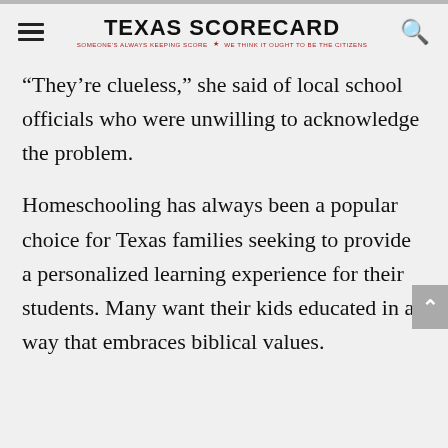TEXAS SCORECARD — SOMEONE'S ALWAYS KEEPING SCORE. WE THINK IT OUGHT TO BE THE CITIZENS
“They’re clueless,” she said of local school officials who were unwilling to acknowledge the problem.
Homeschooling has always been a popular choice for Texas families seeking to provide a personalized learning experience for their students. Many want their kids educated in a way that embraces biblical values.